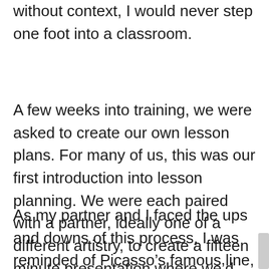If I knew how to create the perfect lesson plan without context, I would never step one foot into a classroom.
A few weeks into training, we were asked to create our own lesson plans. For many of us, this was our first introduction into lesson planning. We were each paired with a partner, ideally one of a different artistry, to create a fifteen minute presentation where we'd highlight various aspects of our lesson plan.
As my partner and I faced the ups and downs of this process, I was reminded of Picasso's famous line, “A great painting comes together, just